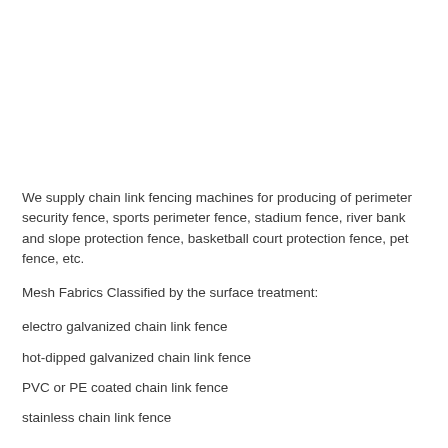We supply chain link fencing machines for producing of perimeter security fence, sports perimeter fence, stadium fence, river bank and slope protection fence, basketball court protection fence, pet fence, etc.
Mesh Fabrics Classified by the surface treatment:
electro galvanized chain link fence
hot-dipped galvanized chain link fence
PVC or PE coated chain link fence
stainless chain link fence